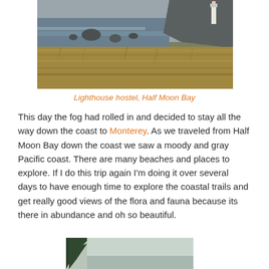[Figure (photo): Coastal landscape with lighthouse on rocky headland, golden grass in foreground, gray sea and overcast sky — Lighthouse hostel, Half Moon Bay]
Lighthouse hostel, Half Moon Bay
This day the fog had rolled in and decided to stay all the way down the coast to Monterey. As we traveled from Half Moon Bay down the coast we saw a moody and gray Pacific coast. There are many beaches and places to explore. If I do this trip again I'm doing it over several days to have enough time to explore the coastal trails and get really good views of the flora and fauna because its there in abundance and oh so beautiful.
[Figure (photo): Partial view of a coastal or forest scene, bottom of page]